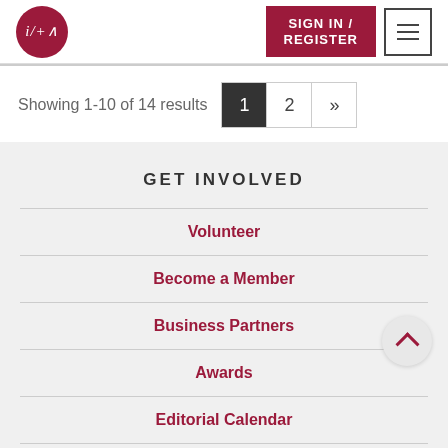i/+A | SIGN IN / REGISTER
Showing 1-10 of 14 results
GET INVOLVED
Volunteer
Become a Member
Business Partners
Awards
Editorial Calendar
Advertise